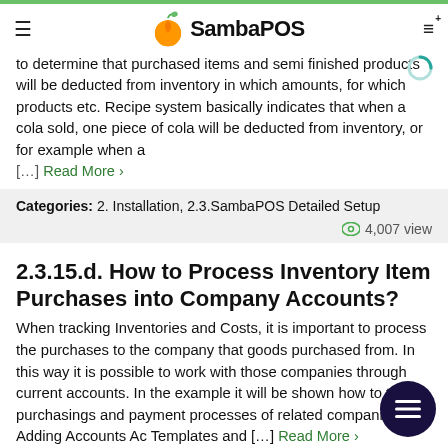SambaPOS
to determine that purchased items and semi finished products will be deducted from inventory in which amounts, for which products etc. Recipe system basically indicates that when a cola sold, one piece of cola will be deducted from inventory, or for example when a [...] Read More >
Categories: 2. Installation, 2.3.SambaPOS Detailed Setup
4,007 view
2.3.15.d. How to Process Inventory Item Purchases into Company Accounts?
When tracking Inventories and Costs, it is important to process the purchases to the company that goods purchased from. In this way it is possible to work with those companies through current accounts. In the example it will be shown how to track purchasings and payment processes of related companies. Adding Accounts Ac Templates and [...] Read More >